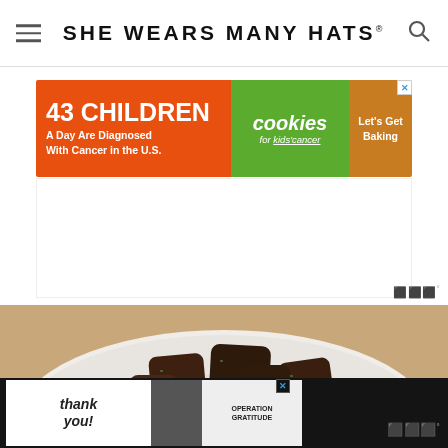SHE WEARS MANY HATS
[Figure (screenshot): Advertisement banner: '43 CHILDREN A Day Are Diagnosed With Cancer in the U.S.' with Cookies for kids' cancer logo and 'Let's Get Baking' call to action]
[Figure (photo): Food photo showing a bowl of beef stew with chunks of meat, carrots, and vegetables served over rice or cauliflower on a white plate]
[Figure (screenshot): Bottom advertisement bar: 'Thank you!' with Operation Gratitude advertisement on a dark/black background]